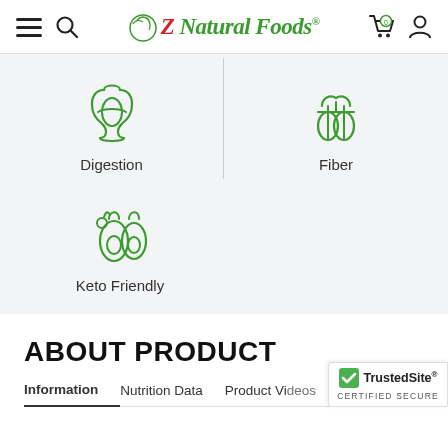Z Natural Foods
[Figure (illustration): Green outline icon of a stomach/digestive system]
Digestion
[Figure (illustration): Green outline icon of vegetables/fiber foods]
Fiber
[Figure (illustration): Green outline icon of avocado and keto foods]
Keto Friendly
ABOUT PRODUCT
Information    Nutrition Data    Product Videos    Reviews